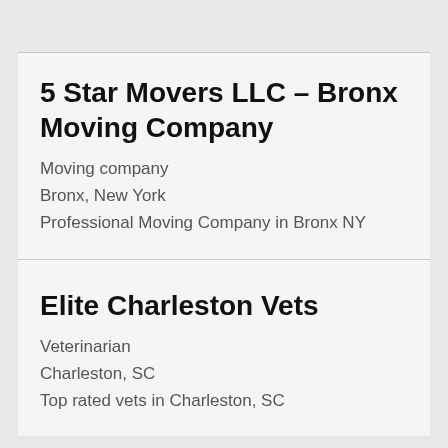5 Star Movers LLC – Bronx Moving Company
Moving company
Bronx, New York
Professional Moving Company in Bronx NY
Elite Charleston Vets
Veterinarian
Charleston, SC
Top rated vets in Charleston, SC